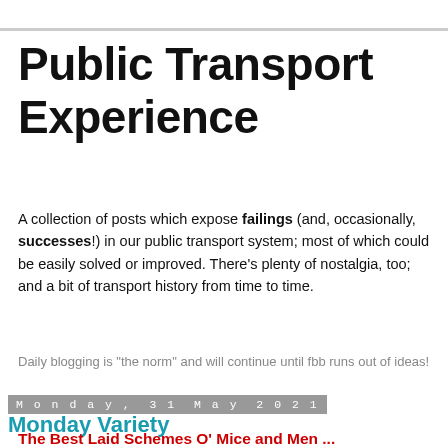Public Transport Experience
A collection of posts which expose failings (and, occasionally, successes!) in our public transport system; most of which could be easily solved or improved. There's plenty of nostalgia, too; and a bit of transport history from time to time.
Daily blogging is "the norm" and will continue until fbb runs out of ideas!
Monday, 31 May 2021
Monday Variety
The Best Laid Schemes O' Mice and Men ...